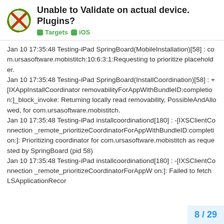Unable to Validate on actual device. Plugins?
Targets  iOS
Jan 10 17:35:48 Testing-iPad SpringBoard(MobileInstallation)[58] : com.ursasoftware.mobistitch:10:6:3:1:Requesting to prioritize placeholder.
Jan 10 17:35:48 Testing-iPad SpringBoard(InstallCoordination)[58] : + [IXAppInstallCoordinator removabilityForAppWithBundleID:completion:]_block_invoke: Returning locally read removability, PossibleAndAllowed, for com.ursasoftware.mobistitch.
Jan 10 17:35:48 Testing-iPad installcoordinationd[180] : -[IXSClientConnection _remote_prioritizeCoordinatorForAppWithBundleID:completion:]: Prioritizing coordinator for com.ursasoftware.mobistitch as requested by SpringBoard (pid 58)
Jan 10 17:35:48 Testing-iPad installcoordinationd[180] : -[IXSClientConnection _remote_prioritizeCoordinatorForAppW on:]: Failed to fetch LSApplicationRecor
8 / 29